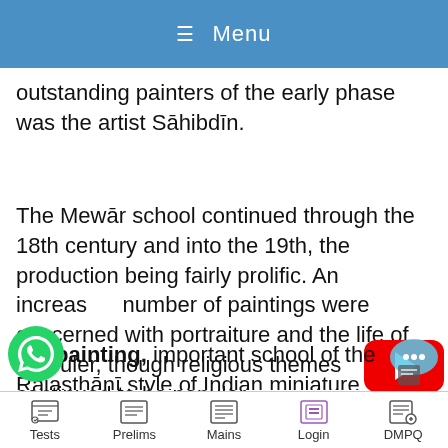≡ Menu
outstanding painters of the early phase was the artist Sāhibdīn.
The Mewār school continued through the 18th century and into the 19th, the production being fairly prolific. An increasing number of paintings were concerned with portraiture and the life of the ruler, though religious themes continued to be popular.
ndi painting, important school of the Rājasthānī style of Indian miniature
Tests  Prelims  Mains  Login  DMPQ